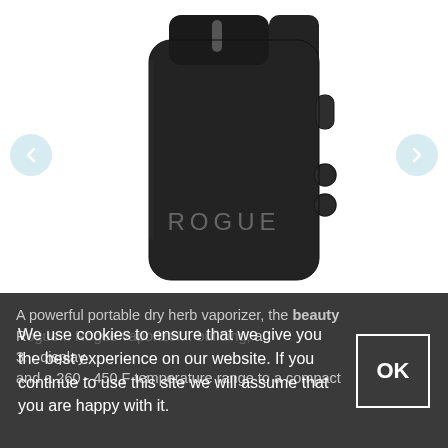[Figure (photo): A black rectangular portable dry herb vaporizer device labeled 'ROGUE', shown at an angle. The device has a slot at the top, a button on the right side, and two circular buttons. Navigation arrows visible on left and right sides.]
A powerful portable dry herb vaporizer, the beauty Rogue... Rogue vaporizer... building, a 3... OLED display and a 260 - 450 F temperature range to a compact
We use cookies to ensure that we give you the best experience on our website. If you continue to use this site we will assume that you are happy with it.